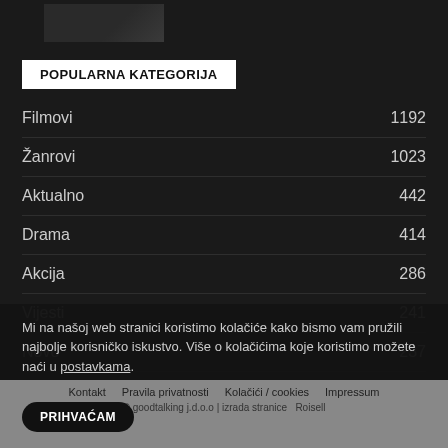[Figure (photo): Small dark thumbnail image in top-left corner]
POPULARNA KATEGORIJA
Filmovi 1192
Žanrovi 1023
Aktualno 442
Drama 414
Akcija 286
Vijesti 241
Novo 237
Mi na našoj web stranici koristimo kolačiće kako bismo vam pružili najbolje korisničko iskustvo. Više o kolačićima koje koristimo možete naći u postavkama.
Kontakt   Pravila privatnosti   Kolačići / cookies   Impressum
© goodtalking j.d.o.o | izrada stranice   Roisell
PRIHVAĆAM